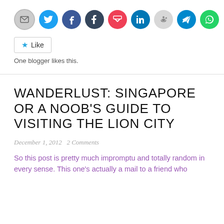[Figure (infographic): Row of social sharing icon circles: email (grey), Twitter (blue), Facebook (blue), Tumblr (dark navy), Pocket (red), LinkedIn (blue), Reddit (light grey), Telegram (blue), WhatsApp (green)]
Like
One blogger likes this.
WANDERLUST: SINGAPORE OR A NOOB'S GUIDE TO VISITING THE LION CITY
December 1, 2012   2 Comments
So this post is pretty much impromptu and totally random in every sense. This one's actually a mail to a friend who